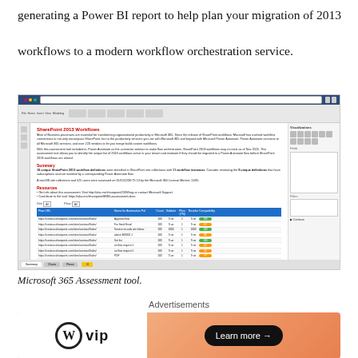generating a Power BI report to help plan your migration of 2013 workflows to a modern workflow orchestration service.
[Figure (screenshot): Screenshot of Microsoft 365 Assessment tool showing SharePoint 2013 Workflows report in Power BI, with a data table listing workflow URLs, names, statuses, and migration readiness indicators.]
Microsoft 365 Assessment tool.
Advertisements
[Figure (other): WordPress VIP advertisement banner with gradient orange background showing WP VIP logo on the left and a 'Learn more →' button on the right.]